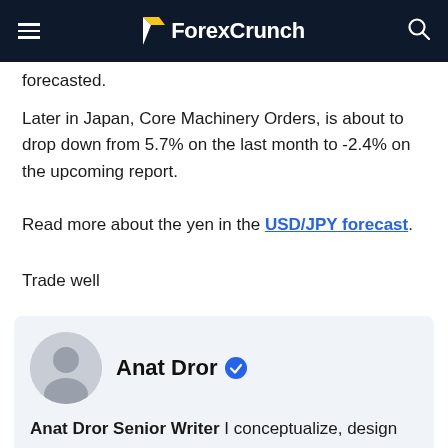ForexCrunch
forecasted.
Later in Japan, Core Machinery Orders, is about to drop down from 5.7% on the last month to -2.4% on the upcoming report.
Read more about the yen in the USD/JPY forecast.
Trade well
Anat Dror Senior Writer I conceptualize, design and create multi-lingual websites. Apart from the technical work, my projects usually consist of writing content for